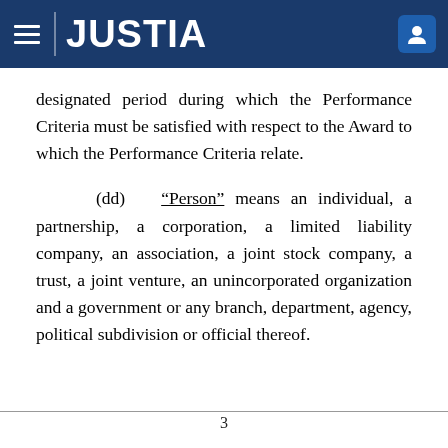JUSTIA
designated period during which the Performance Criteria must be satisfied with respect to the Award to which the Performance Criteria relate.
(dd) “Person” means an individual, a partnership, a corporation, a limited liability company, an association, a joint stock company, a trust, a joint venture, an unincorporated organization and a government or any branch, department, agency, political subdivision or official thereof.
3